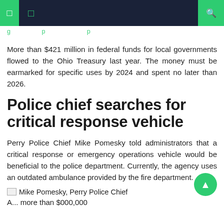navigation header with green bar and search icon
More than $421 million in federal funds for local governments flowed to the Ohio Treasury last year. The money must be earmarked for specific uses by 2024 and spent no later than 2026.
Police chief searches for critical response vehicle
Perry Police Chief Mike Pomesky told administrators that a critical response or emergency operations vehicle would be beneficial to the police department. Currently, the agency uses an outdated ambulance provided by the fire department.
[Figure (photo): Mike Pomesky, Perry Police Chief — broken image placeholder]
Mike Pomesky, Perry Police Chief
partial bottom text cut off: A... more than $000,000